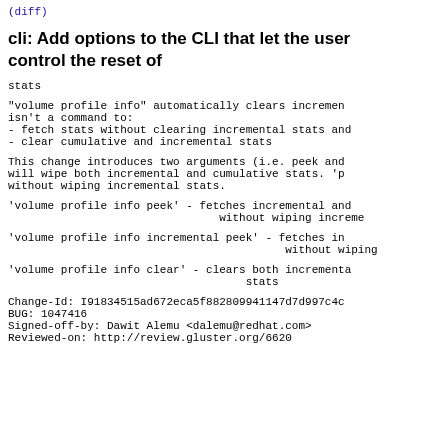(diff)
cli: Add options to the CLI that let the user control the reset of
stats
"volume profile info" automatically clears incremental stats and there isn't a command to:
- fetch stats without clearing incremental stats and
- clear cumulative and incremental stats
This change introduces two arguments (i.e. peek and clear). 'clear' will wipe both incremental and cumulative stats. 'peek' fetches stats without wiping incremental stats.
'volume profile info peek' - fetches incremental and cumulative stats without wiping incremental
'volume profile info incremental peek' - fetches incremental stats without wiping
'volume profile info clear' - clears both incremental and cumulative stats
Change-Id: I91834515ad672eca5f882809941147d7d997c4c
BUG: 1047416
Signed-off-by: Dawit Alemu <dalemu@redhat.com>
Reviewed-on: http://review.gluster.org/6620